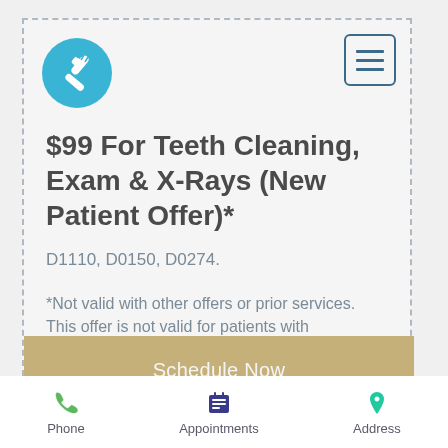[Figure (logo): Toothbrush icon in a teal/blue circle]
[Figure (other): Hamburger menu button with three horizontal lines in a bordered square]
$99 For Teeth Cleaning, Exam & X-Rays (New Patient Offer)*
D1110, D0150, D0274.
*Not valid with other offers or prior services. This offer is not valid for patients with periodontal disease.
Schedule Now
Phone   Appointments   Address